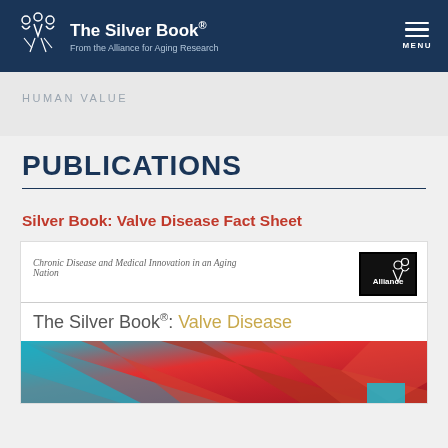The Silver Book® From the Alliance for Aging Research
HUMAN VALUE
PUBLICATIONS
Silver Book: Valve Disease Fact Sheet
[Figure (screenshot): Book cover card showing Alliance logo, subtitle 'Chronic Disease and Medical Innovation in an Aging Nation', and title 'The Silver Book®: Valve Disease' with abstract red/teal image below]